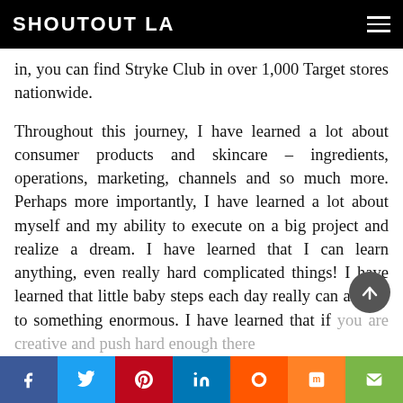SHOUTOUT LA
in, you can find Stryke Club in over 1,000 Target stores nationwide.
Throughout this journey, I have learned a lot about consumer products and skincare – ingredients, operations, marketing, channels and so much more. Perhaps more importantly, I have learned a lot about myself and my ability to execute on a big project and realize a dream. I have learned that I can learn anything, even really hard complicated things! I have learned that little baby steps each day really can add up to something enormous. I have learned that if you are creative and push hard enough there
f  t  p  in  reddit  m  email